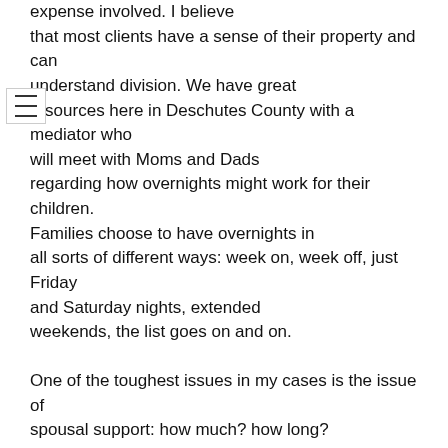expense involved. I believe that most clients have a sense of their property and can understand division. We have great resources here in Deschutes County with a mediator who will meet with Moms and Dads regarding how overnights might work for their children. Families choose to have overnights in all sorts of different ways: week on, week off, just Friday and Saturday nights, extended weekends, the list goes on and on.
One of the toughest issues in my cases is the issue of spousal support: how much? how long? There is no calculator for spousal support like there is for child support. Instead, spousal support is based on a number of factors. Not surprising, one spouse may see the situation and how much is owed very differently than the other spouse. I like to